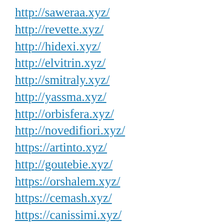http://saweraa.xyz/
http://revette.xyz/
http://hidexi.xyz/
http://elvitrin.xyz/
http://smitraly.xyz/
http://yassma.xyz/
http://orbisfera.xyz/
http://novedifiori.xyz/
https://artinto.xyz/
http://goutebie.xyz/
https://orshalem.xyz/
https://cemash.xyz/
https://canissimi.xyz/
https://neosonicss.xyz/
https://markahi.xyz/
https://haijicy.xyz/